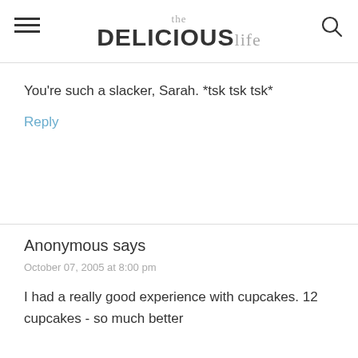the DELICIOUSlife
You're such a slacker, Sarah. *tsk tsk tsk*
Reply
Anonymous says
October 07, 2005 at 8:00 pm
I had a really good experience with cupcakes. 12 cupcakes - so much better